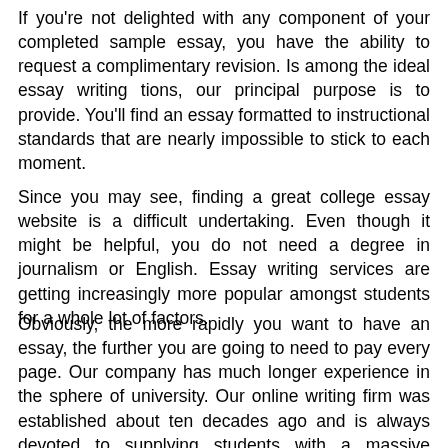If you're not delighted with any component of your completed sample essay, you have the ability to request a complimentary revision. Is among the ideal essay writing tions, our principal purpose is to provide. You'll find an essay formatted to instructional standards that are nearly impossible to stick to each moment.
Since you may see, finding a great college essay website is a difficult undertaking. Even though it might be helpful, you do not need a degree in journalism or English. Essay writing services are getting increasingly more popular amongst students for a whole lot of factors.
Obviously, the more rapidly you want to have an essay, the further you are going to need to pay every page. Our company has much longer experience in the sphere of university. Our online writing firm was established about ten decades ago and is always devoted to supplying students with a massive assortment of composing solutions.